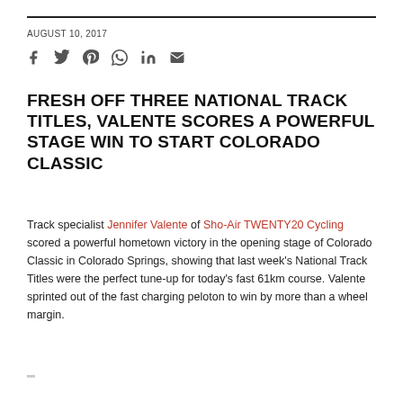AUGUST 10, 2017
FRESH OFF THREE NATIONAL TRACK TITLES, VALENTE SCORES A POWERFUL STAGE WIN TO START COLORADO CLASSIC
Track specialist Jennifer Valente of Sho-Air TWENTY20 Cycling scored a powerful hometown victory in the opening stage of Colorado Classic in Colorado Springs, showing that last week's National Track Titles were the perfect tune-up for today's fast 61km course. Valente sprinted out of the fast charging peloton to win by more than a wheel margin.